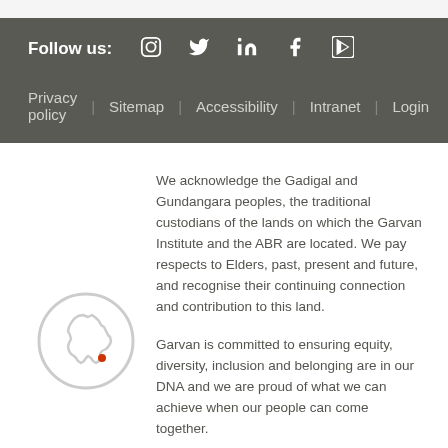Follow us:  [Instagram] [Twitter] [LinkedIn] [Facebook] [YouTube]
Privacy policy | Sitemap | Accessibility | Intranet | Login
[Figure (illustration): Circle outline containing a white silhouette of Australia with a small red dot indicating a location (Sydney area)]
We acknowledge the Gadigal and Gundangara peoples, the traditional custodians of the lands on which the Garvan Institute and the ABR are located. We pay respects to Elders, past, present and future, and recognise their continuing connection and contribution to this land.
Garvan is committed to ensuring equity, diversity, inclusion and belonging are in our DNA and we are proud of what we can achieve when our people can come together.